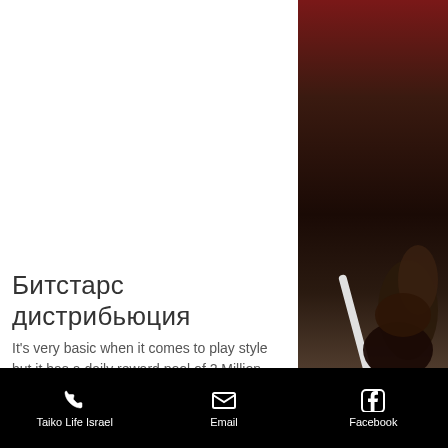[Figure (photo): Partial view of a person holding a white stick/drumstick against a dark background, photo strip on the right side of the screen]
Битстарс дистрибьюция
It's very basic when it comes to play style but it has a daily reward pool of 2 Million Satoshi divided among every player in the game.
Taiko Life Israel  Email  Facebook